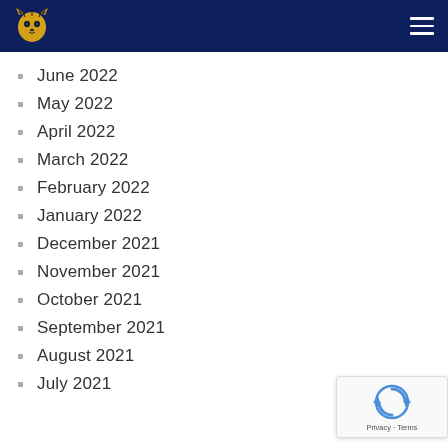School navigation header with logo and menu
June 2022
May 2022
April 2022
March 2022
February 2022
January 2022
December 2021
November 2021
October 2021
September 2021
August 2021
July 2021